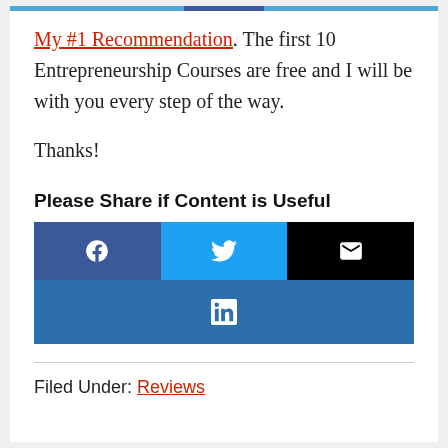My #1 Recommendation. The first 10 Entrepreneurship Courses are free and I will be with you every step of the way.
Thanks!
Please Share if Content is Useful
[Figure (infographic): Social share buttons: Facebook (dark blue), Twitter (light blue), Email (black), LinkedIn (blue)]
Filed Under: Reviews